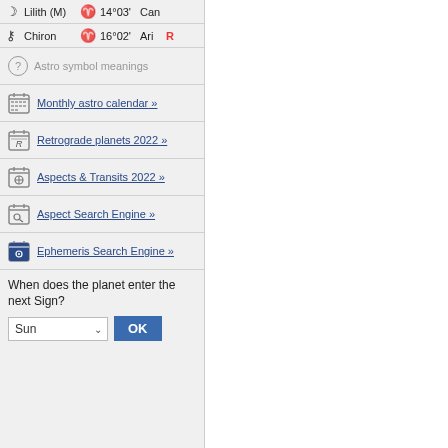Lilith (M) 14°03' Can
Chiron 16°02' Ari R
Astro symbol meanings
Monthly astro calendar »
Retrograde planets 2022 »
Aspects & Transits 2022 »
Aspect Search Engine »
Ephemeris Search Engine »
When does the planet enter the next Sign?